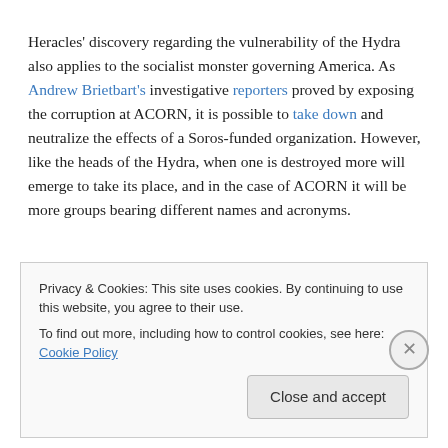Heracles' discovery regarding the vulnerability of the Hydra also applies to the socialist monster governing America. As Andrew Brietbart's investigative reporters proved by exposing the corruption at ACORN, it is possible to take down and neutralize the effects of a Soros-funded organization. However, like the heads of the Hydra, when one is destroyed more will emerge to take its place, and in the case of ACORN it will be more groups bearing different names and acronyms.
Privacy & Cookies: This site uses cookies. By continuing to use this website, you agree to their use. To find out more, including how to control cookies, see here: Cookie Policy